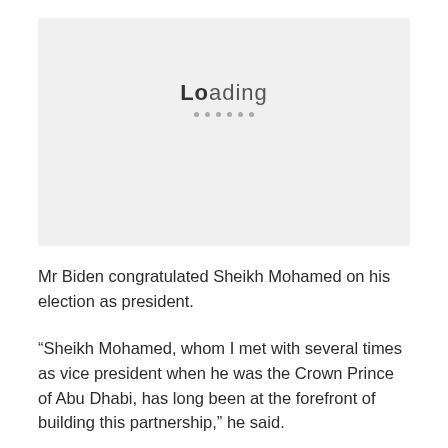[Figure (other): A light grey loading placeholder box displaying the text 'Loading' with bold 'Lo' and dots below it]
Mr Biden congratulated Sheikh Mohamed on his election as president.
“Sheikh Mohamed, whom I met with several times as vice president when he was the Crown Prince of Abu Dhabi, has long been at the forefront of building this partnership,” he said.